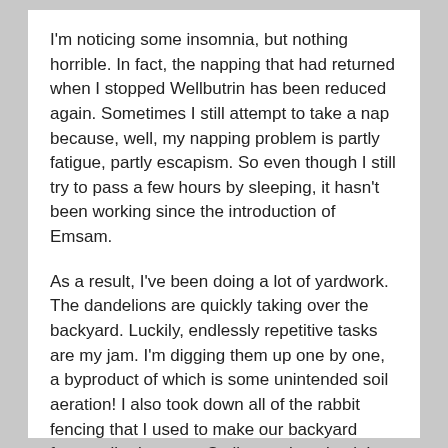I'm noticing some insomnia, but nothing horrible. In fact, the napping that had returned when I stopped Wellbutrin has been reduced again. Sometimes I still attempt to take a nap because, well, my napping problem is partly fatigue, partly escapism. So even though I still try to pass a few hours by sleeping, it hasn't been working since the introduction of Emsam.
As a result, I've been doing a lot of yardwork. The dandelions are quickly taking over the backyard. Luckily, endlessly repetitive tasks are my jam. I'm digging them up one by one, a byproduct of which is some unintended soil aeration! I also took down all of the rabbit fencing that I used to make our backyard fence taller because Stella was jumping it last summer. That solution did not work for long.